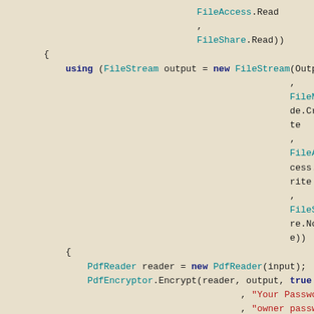Code snippet showing FileStream and PdfReader usage in C#